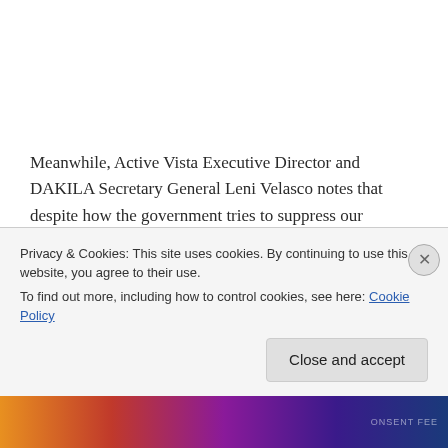Meanwhile, Active Vista Executive Director and DAKILA Secretary General Leni Velasco notes that despite how the government tries to suppress our freedom of expression and assembly in the guise of the pandemic, the annual festival perseveres.
“We have remained in a lockdown far too long –
Privacy & Cookies: This site uses cookies. By continuing to use this website, you agree to their use.
To find out more, including how to control cookies, see here: Cookie Policy
Close and accept
[Figure (other): Colorful banner strip at the bottom of the page with gradient colors (orange, red, purple, dark blue) and faint text]